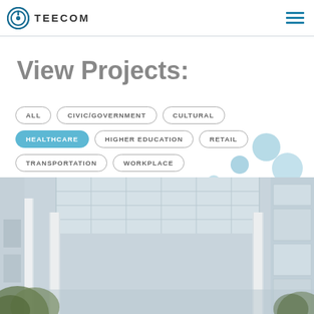TEECOM
View Projects:
ALL
CIVIC/GOVERNMENT
CULTURAL
HEALTHCARE
HIGHER EDUCATION
RETAIL
TRANSPORTATION
WORKPLACE
[Figure (photo): Interior atrium of a modern building with white columns, glass ceiling grid, and foliage in the foreground]